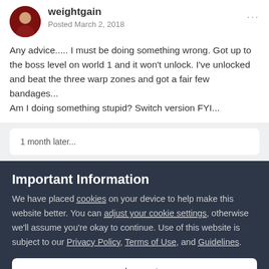[Figure (photo): Round avatar of a user wearing a red shirt, shown as circular profile photo next to username 'weightgain']
weightgain
Posted March 2, 2018
Any advice..... I must be doing something wrong. Got up to the boss level on world 1 and it won't unlock. I've unlocked and beat the three warp zones and got a fair few bandages...
Am I doing something stupid? Switch version FYI...
1 month later...
Important Information
We have placed cookies on your device to help make this website better. You can adjust your cookie settings, otherwise we'll assume you're okay to continue. Use of this website is subject to our Privacy Policy, Terms of Use, and Guidelines.
✓  I accept